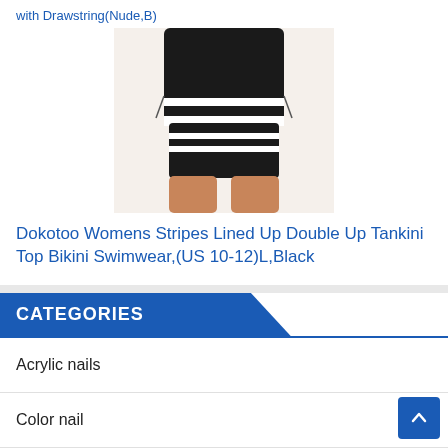with Drawstring(Nude,B)
[Figure (photo): Woman wearing black and white striped tankini top bikini swimwear, showing the lower torso and legs]
Dokotoo Womens Stripes Lined Up Double Up Tankini Top Bikini Swimwear,(US 10-12)L,Black
CATEGORIES
Acrylic nails
Color nail
Health